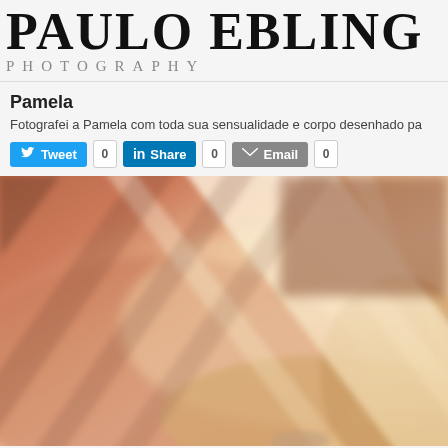PAULO EBLING Photography
Pamela
Fotografei a Pamela com toda sua sensualidade e corpo desenhado pa
[Figure (other): Social sharing buttons: Tweet (0), Share on LinkedIn (0), Email (0)]
[Figure (photo): Blurred close-up photograph of a woman with light hair, with diagonal light streaks (like venetian blinds light) in warm peach and cream tones]